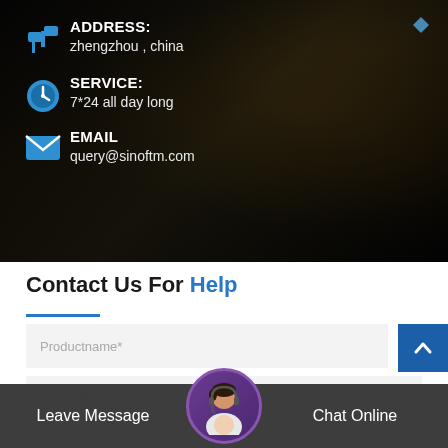[Figure (photo): Dark background photo of a bridge interior with warm orange lights, overlaid with contact information]
ADDRESS:
zhengzhou , china
SERVICE:
7*24 all day long
EMAIL
query@sinoftm.com
Contact Us For Help
Productname*
Your Name
Leave Message
Chat Online